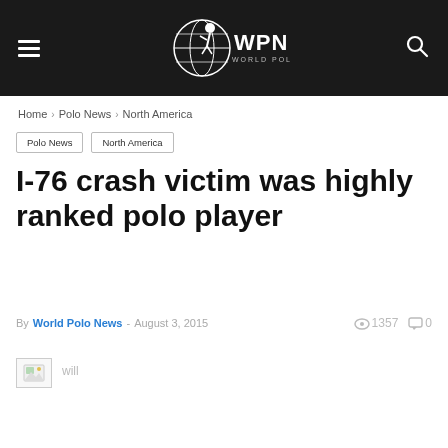WPN World Polo News — navigation bar with hamburger menu and search icon
Home › Polo News › North America
Polo News
North America
I-76 crash victim was highly ranked polo player
By World Polo News - August 3, 2015    1357   0
[Figure (photo): Broken image placeholder with partial text 'will']